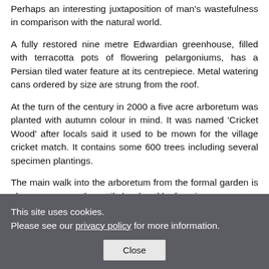Perhaps an interesting juxtaposition of man's wastefulness in comparison with the natural world.
A fully restored nine metre Edwardian greenhouse, filled with terracotta pots of flowering pelargoniums, has a Persian tiled water feature at its centrepiece. Metal watering cans ordered by size are strung from the roof.
At the turn of the century in 2000 a five acre arboretum was planted with autumn colour in mind. It was named ‘Cricket Wood’ after locals said it used to be mown for the village cricket match. It contains some 600 trees including several specimen plantings.
The main walk into the arboretum from the formal garden is along a mown path prettily bordered by foaming cow...
This site uses cookies.
Please see our privacy policy for more information.
Close